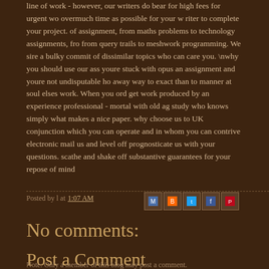line of work - however, our writers do bear for high fees for urgent wo overmuch time as possible for your w riter to complete your project. of assignment, from maths problems to technology assignments, fro from query trails to meshwork programming. We sire a bulky commit of dissimilar topics who can care you. \nwhy you should use our ass youre stuck with opus an assignment and youre not undisputable ho away way to exact than to manner at soul elses work. When you ord get work produced by an experience professional - mortal with old ag study who knows simply what makes a nice paper. why choose us to UK conjunction which you can operate and in whom you can contrive electronic mail us and level off prognosticate us with your questions. scathe and shake off substantive guarantees for your repose of mind
Posted by l at 1:07 AM
No comments:
Post a Comment
Note: Only a member of this blog may post a comment.